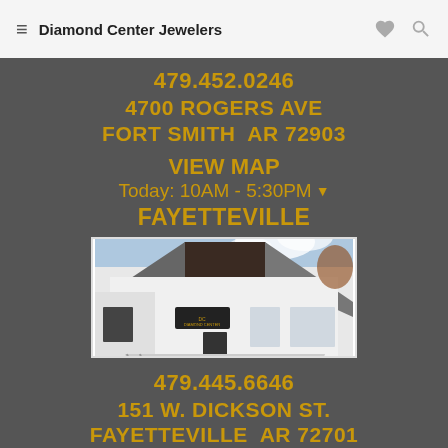Diamond Center Jewelers
479.452.0246
4700 ROGERS AVE
FORT SMITH  AR 72903
VIEW MAP
Today: 10AM - 5:30PM ▼
FAYETTEVILLE
[Figure (photo): Exterior photo of Diamond Center Jewelers Fayetteville location — modern white building with dark metal roof and parking lot]
479.445.6646
151 W. DICKSON ST.
FAYETTEVILLE  AR 72701